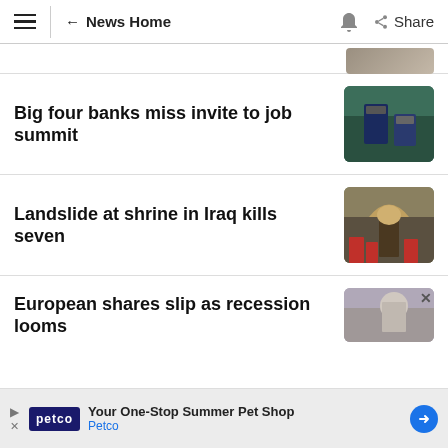News Home
Big four banks miss invite to job summit
Landslide at shrine in Iraq kills seven
European shares slip as recession looms
Your One-Stop Summer Pet Shop Petco